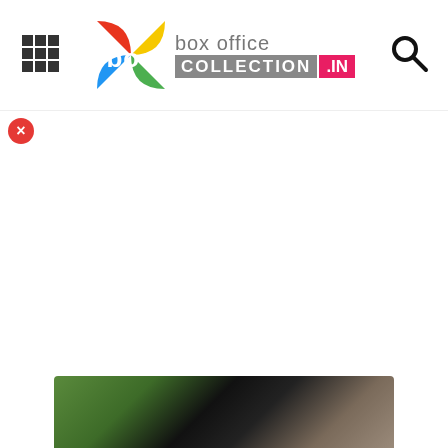Box Office Collection .IN - navigation header with hamburger menu, logo, and search icon
[Figure (logo): Box Office Collection .IN logo with colorful boc icon and text]
[Figure (photo): Partial photo visible at bottom of page showing people]